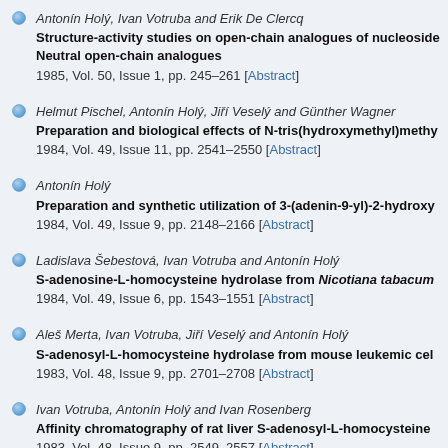Antonín Holý, Ivan Votruba and Erik De Clercq
Structure-activity studies on open-chain analogues of nucleoside Neutral open-chain analogues
1985, Vol. 50, Issue 1, pp. 245–261 [Abstract]
Helmut Pischel, Antonín Holý, Jiří Veselý and Günther Wagner
Preparation and biological effects of N-tris(hydroxymethyl)methy
1984, Vol. 49, Issue 11, pp. 2541–2550 [Abstract]
Antonín Holý
Preparation and synthetic utilization of 3-(adenin-9-yl)-2-hydroxy
1984, Vol. 49, Issue 9, pp. 2148–2166 [Abstract]
Ladislava Šebestová, Ivan Votruba and Antonín Holý
S-adenosine-L-homocysteine hydrolase from Nicotiana tabacum
1984, Vol. 49, Issue 6, pp. 1543–1551 [Abstract]
Aleš Merta, Ivan Votruba, Jiří Veselý and Antonín Holý
S-adenosyl-L-homocysteine hydrolase from mouse leukemic cel
1983, Vol. 48, Issue 9, pp. 2701–2708 [Abstract]
Ivan Votruba, Antonín Holý and Ivan Rosenberg
Affinity chromatography of rat liver S-adenosyl-L-homocysteine
1983, Vol. 48, Issue 9, pp. 2549–2557 [Abstract]